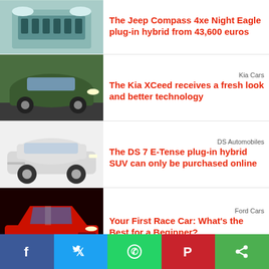[Figure (photo): Close-up of a Jeep Compass front grille in light blue/teal color]
The Jeep Compass 4xe Night Eagle plug-in hybrid from 43,600 euros
Kia Cars
[Figure (photo): Kia XCeed in green color driving on a road]
The Kia XCeed receives a fresh look and better technology
DS Automobiles
[Figure (photo): DS 7 E-Tense plug-in hybrid SUV in white/silver color on white background]
The DS 7 E-Tense plug-in hybrid SUV can only be purchased online
Ford Cars
[Figure (photo): Red Ford Mustang sports car on dark background]
Your First Race Car: What's the Best for a Beginner?